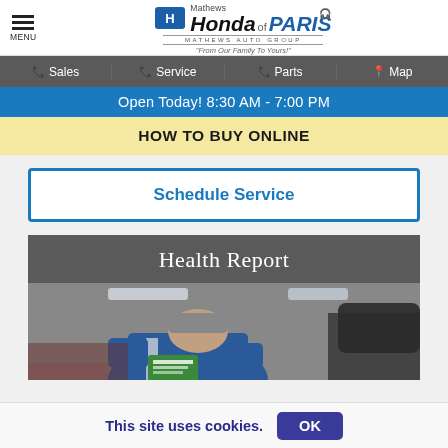MENU | Mathews Honda of PARIS | Mathews Auto Group | "From Our Family To Yours!"
Sales | Service | Parts | Map
Open Today! 8:30 AM - 7:00 PM
HOW TO BUY ONLINE
Schedule Service
[Figure (photo): Health Report section header with photo of automotive technician in blue uniform holding a green clipboard, working in a service bay]
This site uses cookies.
OK